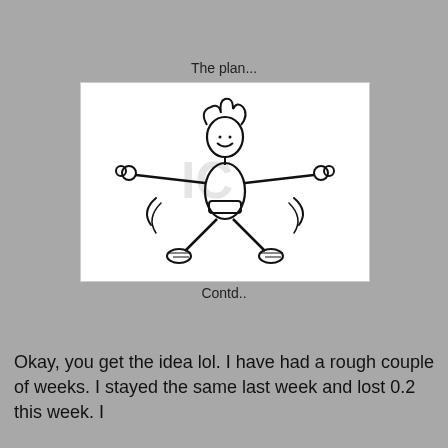The plan...
[Figure (illustration): Black and white line drawing of a woman doing jumping jacks / aerobic exercise, holding dumbbells in each hand with motion lines, wearing sneakers]
Contd..
Okay, you get the idea lol. I have had a rough couple of weeks. I stayed the same last week and lost 0.2 this week. I